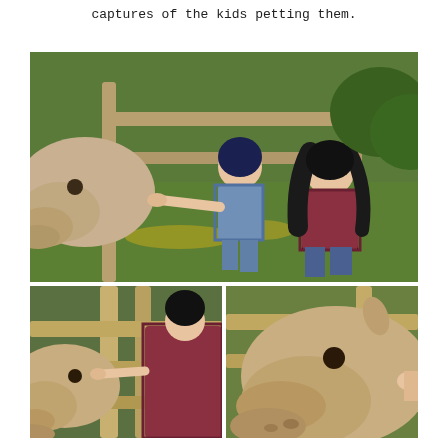captures of the kids petting them.
[Figure (photo): Two girls (tweens/teens) with dark hair crouching on a grassy field with yellow wildflowers, feeding or petting a light-colored horse/pony through a wooden fence. Both girls wear plaid shirts and jeans.]
[Figure (photo): Close-up of a girl in a plaid shirt reaching through wooden fence posts to pet or feed a horse, seen from the side. Horse head and fence prominently in frame with blurred green background.]
[Figure (photo): Close-up of a light-tan horse's head and face looking through wooden fence rails, with a child's hand reaching to pet it from the right side.]